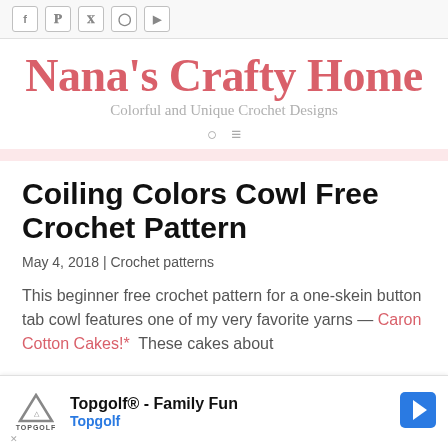Social icons: Facebook, Pinterest, Twitter, Instagram, YouTube
Nana's Crafty Home
Colorful and Unique Crochet Designs
Coiling Colors Cowl Free Crochet Pattern
May 4, 2018 | Crochet patterns
This beginner free crochet pattern for a one-skein button tab cowl features one of my very favorite yarns — Caron Cotton Cakes!*  These cakes about
[Figure (other): Topgolf advertisement banner with logo, 'Topgolf® - Family Fun' text and blue arrow icon]